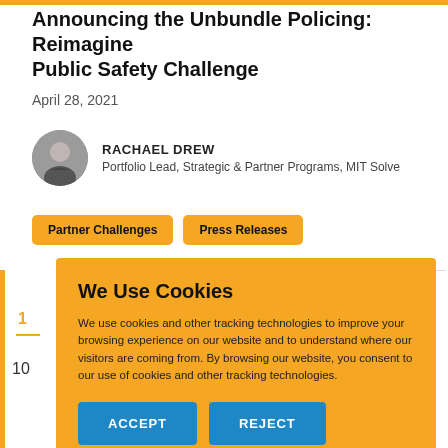Announcing the Unbundle Policing: Reimagine Public Safety Challenge
April 28, 2021
RACHAEL DREW
Portfolio Lead, Strategic & Partner Programs, MIT Solve
Partner Challenges
Press Releases
We Use Cookies
We use cookies and other tracking technologies to improve your browsing experience on our website and to understand where our visitors are coming from. By browsing our website, you consent to our use of cookies and other tracking technologies.
ACCEPT
REJECT